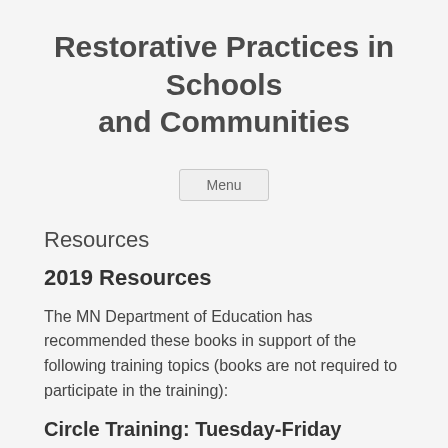Restorative Practices in Schools and Communities
Menu
Resources
2019 Resources
The MN Department of Education has recommended these books in support of the following training topics (books are not required to participate in the training):
Circle Training: Tuesday-Friday
Circle Forward: Building Restorative School...